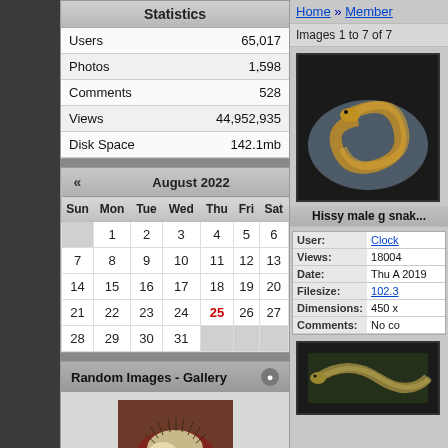| Statistics |  |
| --- | --- |
| Users | 65,017 |
| Photos | 1,598 |
| Comments | 528 |
| Views | 44,952,935 |
| Disk Space | 142.1mb |
| « | August 2022 |  |
| --- | --- | --- |
| Sun | Mon | Tue | Wed | Thu | Fri | Sat |
|  | 1 | 2 | 3 | 4 | 5 | 6 |
| 7 | 8 | 9 | 10 | 11 | 12 | 13 |
| 14 | 15 | 16 | 17 | 18 | 19 | 20 |
| 21 | 22 | 23 | 24 | 25 | 26 | 27 |
| 28 | 29 | 30 | 31 |  |  |  |
Random Images - Gallery
[Figure (photo): Photo of a hedgehog lying on red fabric]
Home » Member
Images 1 to 7 of 7
[Figure (photo): Photo of a snake on gray/blue surface with golden-brown coloring]
Hissy male g snak...
|  |  |
| --- | --- |
| User: | Clock |
| Views: | 18004 |
| Date: | Thu A 2019 |
| Filesize: | 102.3 |
| Dimensions: | 450 x |
| Comments: | No co |
[Figure (photo): Second snake photo]